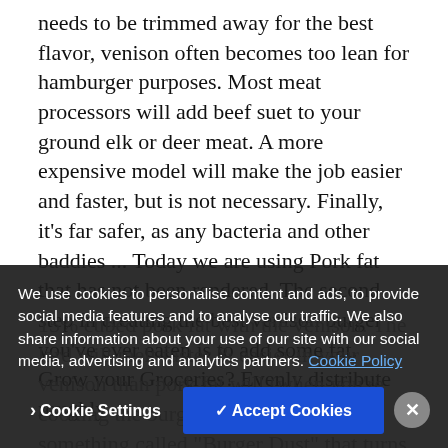needs to be trimmed away for the best flavor, venison often becomes too lean for hamburger purposes. Most meat processors will add beef suet to your ground elk or deer meat. A more expensive model will make the job easier and faster, but is not necessary. Finally, it's far safer, as any bacteria and other baddies ... Today we are using Pork fat that has not been rendered. The second step in creating the best venison burger you've ever eaten is to add some fat. Grow your Groceries? Evenly distribute roughly 15% cubed pork fat with the venison. The lard will melt faster & easier in your venison than pork fat will (when you're cooking the burgers). He makes something called "Burger Dust" that turns ordinary burgers into exceptional burgers—thank you for th...
We use cookies to personalise content and ads, to provide social media features and to analyse our traffic. We also share information about your use of our site with our social media, advertising and analytics partners. Cookie Policy
Cookie Settings | Accept Cookies